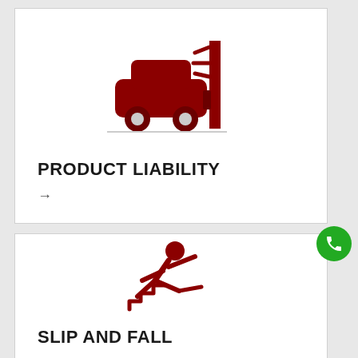[Figure (illustration): Dark red icon of a car crashing into a wall with impact lines]
PRODUCT LIABILITY
→
[Figure (illustration): Dark red icon of a stick figure slipping and falling on stairs]
SLIP AND FALL